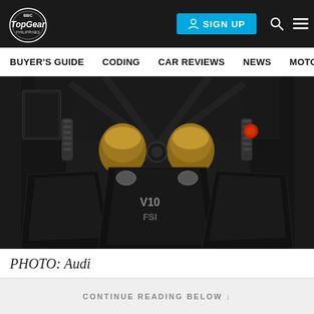Top Gear Philippines | SIGN UP
BUYER'S GUIDE   CODING   CAR REVIEWS   NEWS   MOTORCY
[Figure (photo): Close-up photograph of an Audi V10 FSI engine bay, showing the gold/bronze colored engine with X-shaped carbon fiber strut brace, black carbon fiber engine covers with V10 FSI badge, viewed from above at an angle.]
PHOTO: Audi
CONTINUE READING BELOW